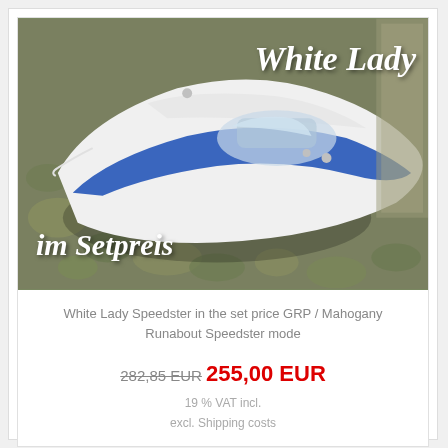[Figure (photo): White Lady Speedster model boat, white hull with blue stripe, photographed from above on a rocky/gravelly surface. Overlaid italic script text 'White Lady' in upper right and 'im Setpreis' in lower left.]
White Lady Speedster in the set price GRP / Mahogany Runabout Speedster mode
282,85 EUR 255,00 EUR
19 % VAT incl.
excl. Shipping costs